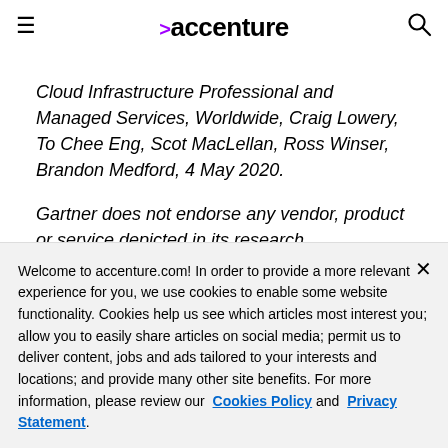accenture
Cloud Infrastructure Professional and Managed Services, Worldwide, Craig Lowery, To Chee Eng, Scot MacLellan, Ross Winser, Brandon Medford, 4 May 2020.
Gartner does not endorse any vendor, product or service depicted in its research
Welcome to accenture.com! In order to provide a more relevant experience for you, we use cookies to enable some website functionality. Cookies help us see which articles most interest you; allow you to easily share articles on social media; permit us to deliver content, jobs and ads tailored to your interests and locations; and provide many other site benefits. For more information, please review our  Cookies Policy  and  Privacy Statement.